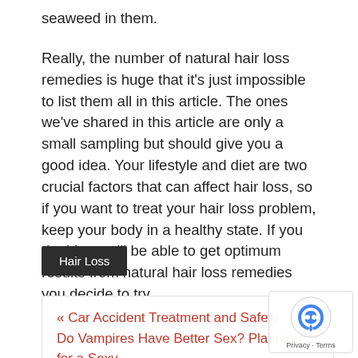seaweed in them.
Really, the number of natural hair loss remedies is huge that it's just impossible to list them all in this article. The ones we've shared in this article are only a small sampling but should give you a good idea. Your lifestyle and diet are two crucial factors that can affect hair loss, so if you want to treat your hair loss problem, keep your body in a healthy state. If you do this, you'll be able to get optimum results from natural hair loss remedies you decide to try.
Hair Loss
« Car Accident Treatment and Safety
Do Vampires Have Better Sex? Planning for a Sexy Halloween »